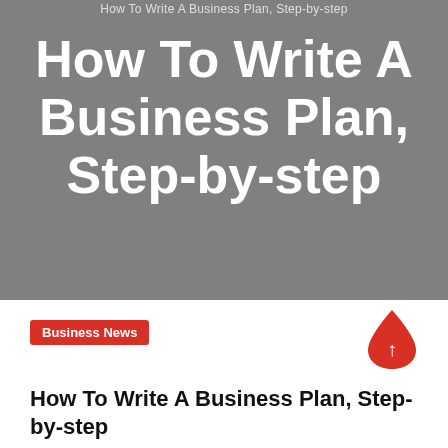How To Write A Business Plan, Step-by-step
How To Write A Business Plan, Step-by-step
Business News
How To Write A Business Plan, Step-by-step